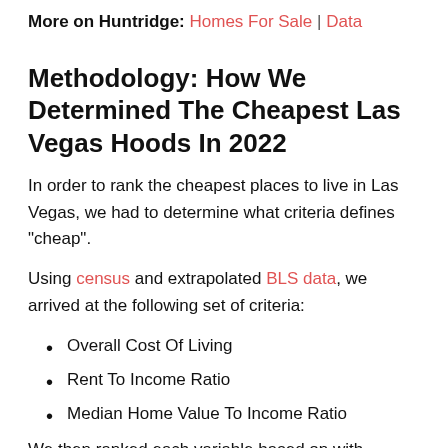More on Huntridge: Homes For Sale | Data
Methodology: How We Determined The Cheapest Las Vegas Hoods In 2022
In order to rank the cheapest places to live in Las Vegas, we had to determine what criteria defines "cheap".
Using census and extrapolated BLS data, we arrived at the following set of criteria:
Overall Cost Of Living
Rent To Income Ratio
Median Home Value To Income Ratio
We then ranked each variable based on with